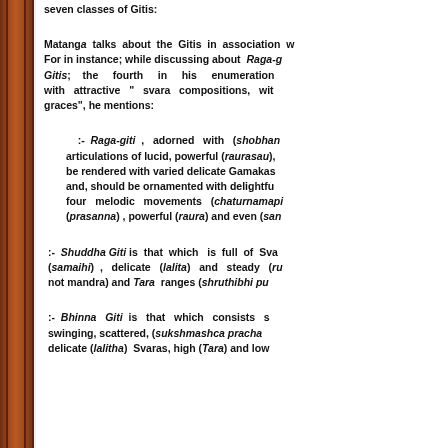seven classes of Gitis:
Matanga talks about the Gitis in association w... For in instance; while discussing about Raga-g... Gitis; the fourth in his enumeration ... with attractive " svara compositions, with... graces", he mentions:
:- Raga-giti , adorned with (shobhan... articulations of lucid, powerful (raurasau), ... be rendered with varied delicate Gamakas ... and, should be ornamented with delightfu... four melodic movements (chaturnamapi... (prasanna) , powerful (raura) and even (san...
:- Shuddha Giti is that which is full of Sva... (samaihi) , delicate (lalita) and steady (ru... not mandra) and Tara ranges (shruthibhi pu...
:- Bhinna Giti is that which consists s... swinging, scattered, (sukshmashca pracha... delicate (lalitha) Svaras, high (Tara) and low...